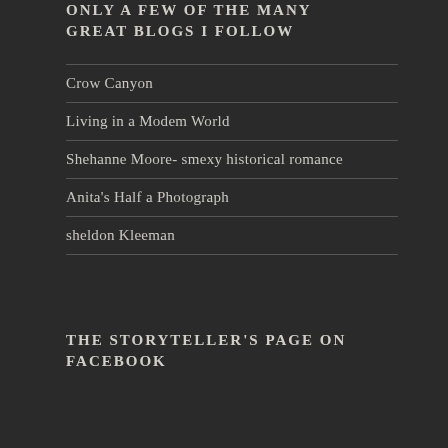ONLY A FEW OF THE MANY GREAT BLOGS I FOLLOW
Crow Canyon
Living in a Modem World
Shehanne Moore- smexy historical romance
Anita's Half a Photograph
sheldon Kleeman
THE STORYTELLER'S PAGE ON FACEBOOK